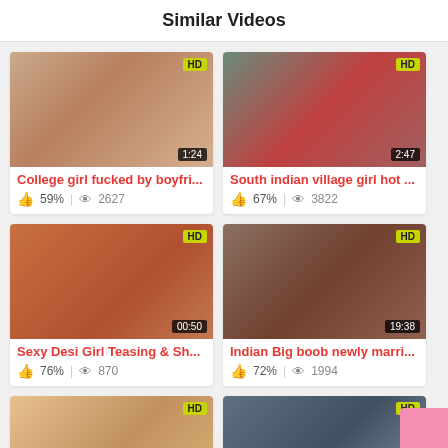Similar Videos
[Figure (screenshot): Video thumbnail grid showing similar videos with HD badges, duration overlays, titles in red, like percentages, and view counts]
College girl fucked by boyfri...
59% | 2627
South indian village girl hot ...
67% | 3822
Sexy Desi Girl Teasing & Sh...
76% | 870
Indian Big boob newly marri...
72% | 1994